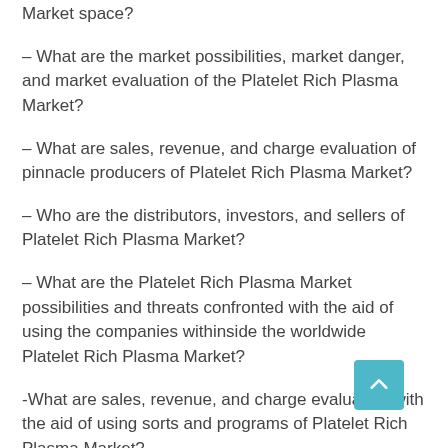Market space?
– What are the market possibilities, market danger, and market evaluation of the Platelet Rich Plasma Market?
– What are sales, revenue, and charge evaluation of pinnacle producers of Platelet Rich Plasma Market?
– Who are the distributors, investors, and sellers of Platelet Rich Plasma Market?
– What are the Platelet Rich Plasma Market possibilities and threats confronted with the aid of using the companies withinside the worldwide Platelet Rich Plasma Market?
-What are sales, revenue, and charge evaluation with the aid of using sorts and programs of Platelet Rich Plasma Market?
– What are sales, revenue, and charge evaluation with the aid of using